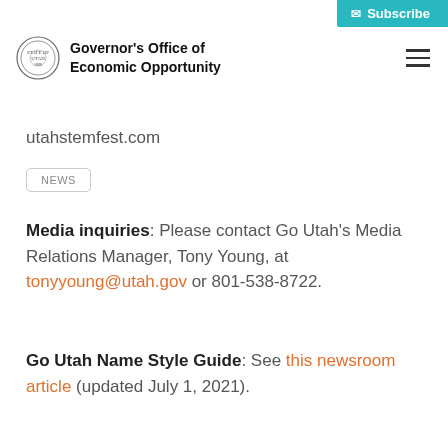Subscribe
[Figure (logo): Governor's Office of Economic Opportunity seal and name logo with hamburger menu icon]
utahstemfest.com
NEWS
Media inquiries: Please contact Go Utah's Media Relations Manager, Tony Young, at tonyyoung@utah.gov or 801-538-8722.
Go Utah Name Style Guide: See this newsroom article (updated July 1, 2021).